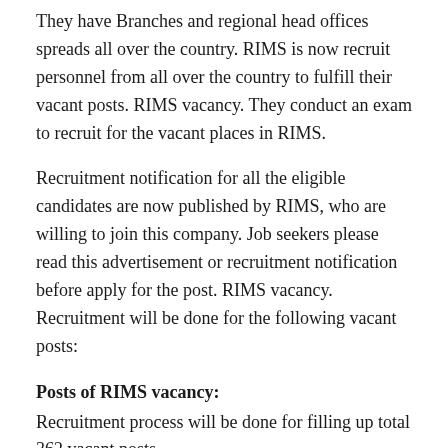They have Branches and regional head offices spreads all over the country. RIMS is now recruit personnel from all over the country to fulfill their vacant posts. RIMS vacancy. They conduct an exam to recruit for the vacant places in RIMS.
Recruitment notification for all the eligible candidates are now published by RIMS, who are willing to join this company. Job seekers please read this advertisement or recruitment notification before apply for the post. RIMS vacancy. Recruitment will be done for the following vacant posts:
Posts of RIMS vacancy:
Recruitment process will be done for filling up total 362 vacant posts.
1. Staff Nurse Grade ‘A’ – 362